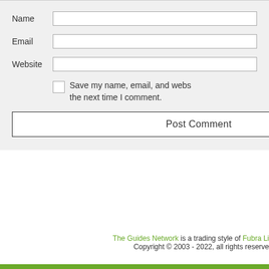Name [input field]
Email [input field]
Website [input field]
Save my name, email, and website in this browser for the next time I comment.
Post Comment
The Guides Network is a trading style of Fubra Li... Copyright © 2003 - 2022, all rights reserve...